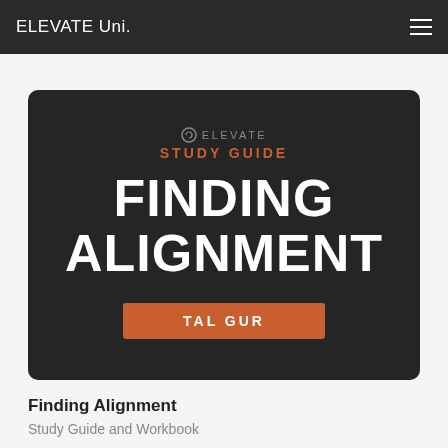ELEVATE Uni.
[Figure (illustration): Book cover for 'Finding Alignment' Study Guide by Tal Gur, dark background with orange accent text and author badge]
Finding Alignment
Study Guide and Workbook